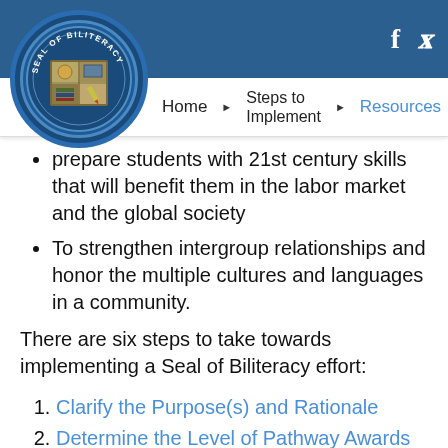[Figure (logo): Seal of Biliteracy circular logo with a book illustration in the center]
Home | Steps to Implement | Resources | FAQs | Blog
prepare students with 21st century skills that will benefit them in the labor market and the global society
To strengthen intergroup relationships and honor the multiple cultures and languages in a community.
There are six steps to take towards implementing a Seal of Biliteracy effort:
1. Clarify the Purpose(s) and Rationale
2. Determine the Level of Pathway Awards to Be Granted
3. Define the Criteria for Granting the Awards
A. Preschool Pathway Award: “Becoming